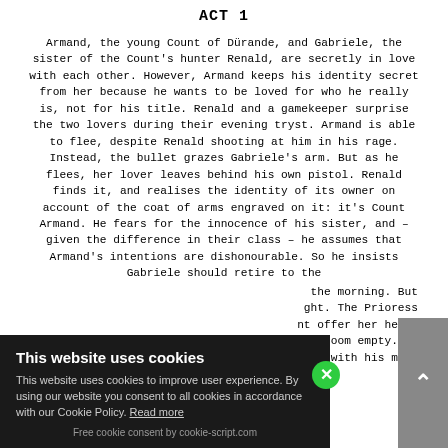ACT 1
Armand, the young Count of Dürande, and Gabriele, the sister of the Count's hunter Renald, are secretly in love with each other. However, Armand keeps his identity secret from her because he wants to be loved for who he really is, not for his title. Renald and a gamekeeper surprise the two lovers during their evening tryst. Armand is able to flee, despite Renald shooting at him in his rage. Instead, the bullet grazes Gabriele's arm. But as he flees, her lover leaves behind his own pistol. Renald finds it, and realises the identity of its owner on account of the coat of arms engraved on it: it's Count Armand. He fears for the innocence of his sister, and – given the difference in their class – he assumes that Armand's intentions are dishonourable. So he insists Gabriele should retire to the
the morning. But ght. The Prioress nt offer her help. room empty. He ng with his men,
This website uses cookies
This website uses cookies to improve user experience. By using our website you consent to all cookies in accordance with our Cookie Policy. Read more
Free cookie consent by cookie-script.com